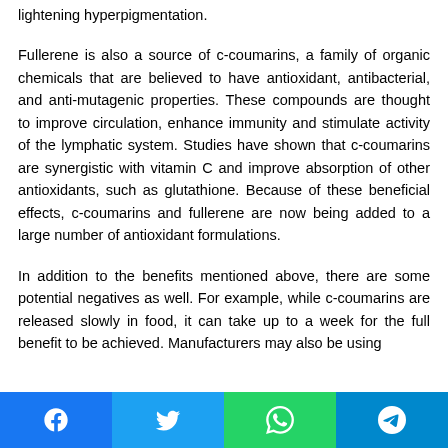lightening hyperpigmentation.
Fullerene is also a source of c-coumarins, a family of organic chemicals that are believed to have antioxidant, antibacterial, and anti-mutagenic properties. These compounds are thought to improve circulation, enhance immunity and stimulate activity of the lymphatic system. Studies have shown that c-coumarins are synergistic with vitamin C and improve absorption of other antioxidants, such as glutathione. Because of these beneficial effects, c-coumarins and fullerene are now being added to a large number of antioxidant formulations.
In addition to the benefits mentioned above, there are some potential negatives as well. For example, while c-coumarins are released slowly in food, it can take up to a week for the full benefit to be achieved. Manufacturers may also be using